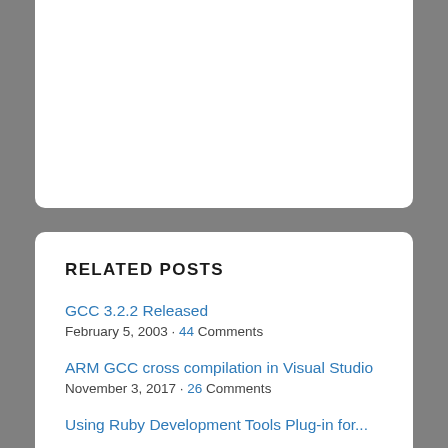[Figure (other): White card area at top of page, blank content area]
RELATED POSTS
GCC 3.2.2 Released
February 5, 2003 · 44 Comments
ARM GCC cross compilation in Visual Studio
November 3, 2017 · 26 Comments
Using Ruby Development Tools Plug-in for...